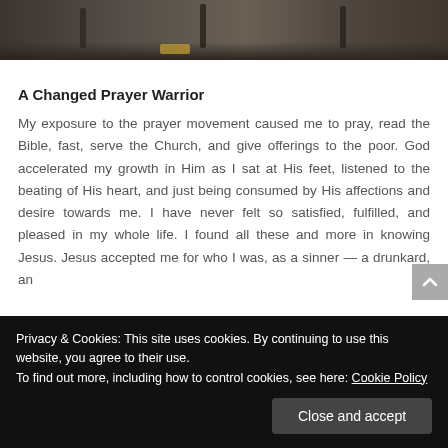[Figure (photo): Partial view of an indoor space with dark chairs and a wooden floor, shown as a horizontal strip at the top of the page.]
A Changed Prayer Warrior
My exposure to the prayer movement caused me to pray, read the Bible, fast, serve the Church, and give offerings to the poor. God accelerated my growth in Him as I sat at His feet, listened to the beating of His heart, and just being consumed by His affections and desire towards me. I have never felt so satisfied, fulfilled, and pleased in my whole life. I found all these and more in knowing Jesus. Jesus accepted me for who I was, as a sinner — a drunkard, an
only to be fulfilled by Him and Him alone. The wrong
Privacy & Cookies: This site uses cookies. By continuing to use this website, you agree to their use.
To find out more, including how to control cookies, see here: Cookie Policy
Close and accept